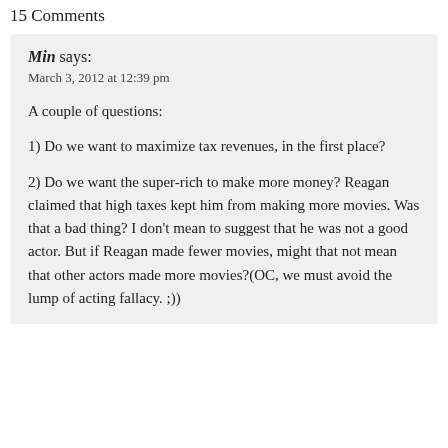15 Comments
Min says:
March 3, 2012 at 12:39 pm
A couple of questions:

1) Do we want to maximize tax revenues, in the first place?

2) Do we want the super-rich to make more money? Reagan claimed that high taxes kept him from making more movies. Was that a bad thing? I don’t mean to suggest that he was not a good actor. But if Reagan made fewer movies, might that not mean that other actors made more movies?(OC, we must avoid the lump of acting fallacy. ;))